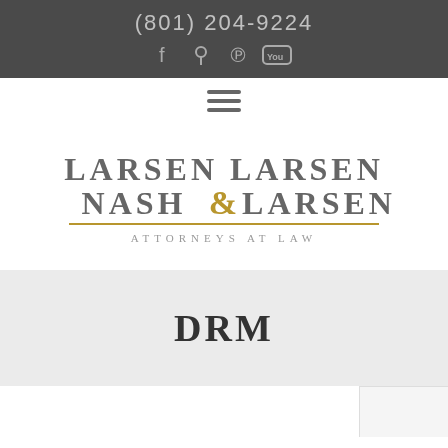(801) 204-9224
[Figure (logo): Social media icons: Facebook, location pin, Pinterest, YouTube in header bar]
[Figure (logo): Hamburger navigation menu icon]
[Figure (logo): Larsen Larsen Nash & Larsen Attorneys at Law logo]
DRM